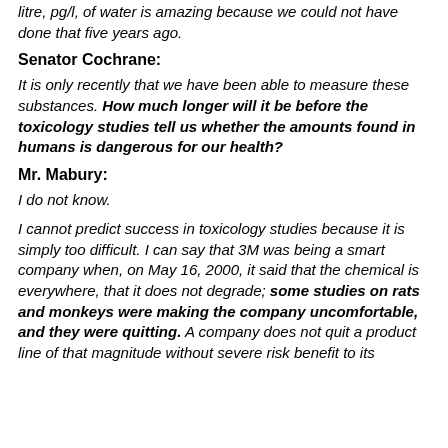litre, pg/l, of water is amazing because we could not have done that five years ago.
Senator Cochrane:
It is only recently that we have been able to measure these substances. How much longer will it be before the toxicology studies tell us whether the amounts found in humans is dangerous for our health?
Mr. Mabury:
I do not know.
I cannot predict success in toxicology studies because it is simply too difficult. I can say that 3M was being a smart company when, on May 16, 2000, it said that the chemical is everywhere, that it does not degrade; some studies on rats and monkeys were making the company uncomfortable, and they were quitting. A company does not quit a product line of that magnitude without severe risk benefit to its